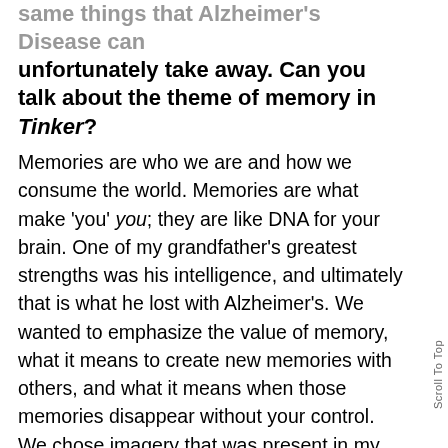same things that Alzheimer's Disease can unfortunately take away. Can you talk about the theme of memory in Tinker?
Memories are who we are and how we consume the world. Memories are what make 'you' you; they are like DNA for your brain. One of my grandfather's greatest strengths was his intelligence, and ultimately that is what he lost with Alzheimer's. We wanted to emphasize the value of memory, what it means to create new memories with others, and what it means when those memories disappear without your control. We chose imagery that was present in my life growing up in Midwest Ohio inside my grandfather's workshop and wanted to embody that playful, creative environment he created. We chose objects that were symbolic of my time growing up alongside